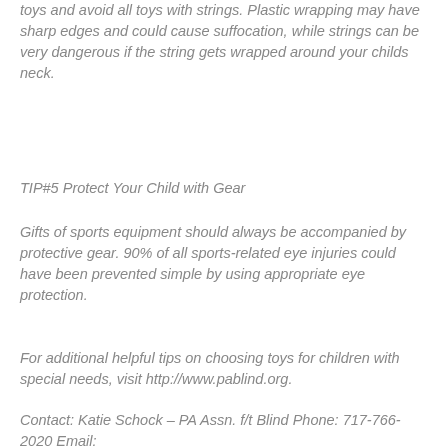toys and avoid all toys with strings. Plastic wrapping may have sharp edges and could cause suffocation, while strings can be very dangerous if the string gets wrapped around your childs neck.
TIP#5 Protect Your Child with Gear
Gifts of sports equipment should always be accompanied by protective gear. 90% of all sports-related eye injuries could have been prevented simple by using appropriate eye protection.
For additional helpful tips on choosing toys for children with special needs, visit http://www.pablind.org.
Contact: Katie Schock – PA Assn. f/t Blind Phone: 717-766-2020 Email: